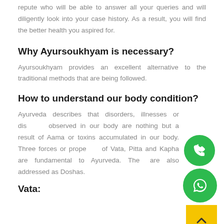repute who will be able to answer all your queries and will diligently look into your case history. As a result, you will find the better health you aspired for.
Why Ayursoukhyam is necessary?
Ayursoukhyam provides an excellent alternative to the traditional methods that are being followed.
How to understand our body condition?
Ayurveda describes that disorders, illnesses or diseases observed in our body are nothing but a result of Aama or toxins accumulated in our body. Three forces or properties of Vata, Pitta and Kapha are fundamental to Ayurveda. They are also addressed as Doshas.
Vata: